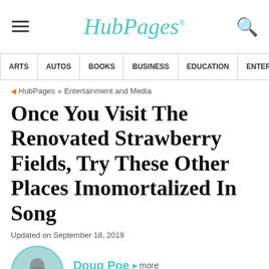HubPages
ARTS | AUTOS | BOOKS | BUSINESS | EDUCATION | ENTERTA
HubPages » Entertainment and Media
Once You Visit The Renovated Strawberry Fields, Try These Other Places Imomortalized In Song
Updated on September 18, 2019
Doug Poe ▶ more
Contact Author